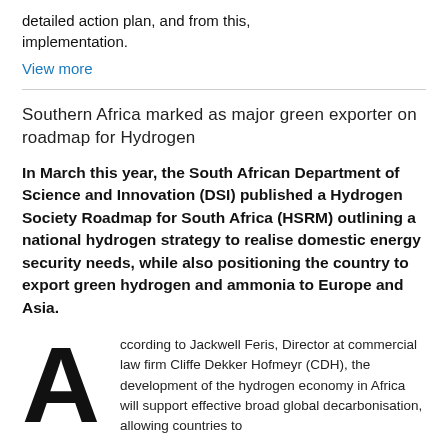detailed action plan, and from this, implementation.
View more
Southern Africa marked as major green exporter on roadmap for Hydrogen
In March this year, the South African Department of Science and Innovation (DSI) published a Hydrogen Society Roadmap for South Africa (HSRM) outlining a national hydrogen strategy to realise domestic energy security needs, while also positioning the country to export green hydrogen and ammonia to Europe and Asia.
According to Jackwell Feris, Director at commercial law firm Cliffe Dekker Hofmeyr (CDH), the development of the hydrogen economy in Africa will support effective broad global decarbonisation, allowing countries to